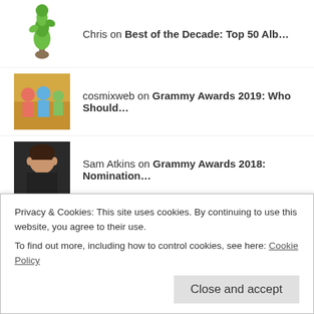Chris on Best of the Decade: Top 50 Alb…
cosmixweb on Grammy Awards 2019: Who Should…
Sam Atkins on Grammy Awards 2018: Nomination…
Sam Atkins on Grammy Awards 2018: Nomination…
Barb Norris on Grammy Awards 2018: Nomination…
Privacy & Cookies: This site uses cookies. By continuing to use this website, you agree to their use. To find out more, including how to control cookies, see here: Cookie Policy
Close and accept